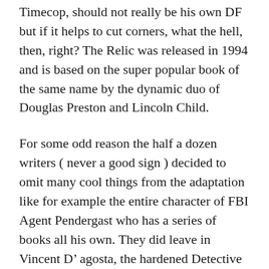Timecop, should not really be his own DF but if it helps to cut corners, what the hell, then, right? The Relic was released in 1994 and is based on the super popular book of the same name by the dynamic duo of Douglas Preston and Lincoln Child.
For some odd reason the half a dozen writers ( never a good sign ) decided to omit many cool things from the adaptation like for example the entire character of FBI Agent Pendergast who has a series of books all his own. They did leave in Vincent D' agosta, the hardened Detective in the story.  They also changed locales from NYC to